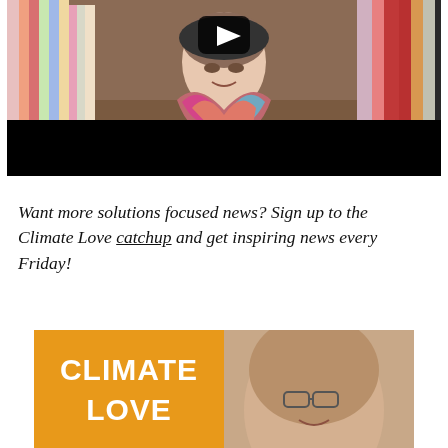[Figure (photo): Video thumbnail showing a woman with a colorful scarf in a clothing/thrift store, with a play button overlay. Clothing racks visible on both sides. Bottom portion is black (letterbox).]
Want more solutions focused news? Sign up to the Climate Love catchup and get inspiring news every Friday!
[Figure (photo): Circular cropped photo split: left half shows orange background with white bold text 'CLIMATE LOVE', right half shows a woman with glasses and brown hair smiling.]